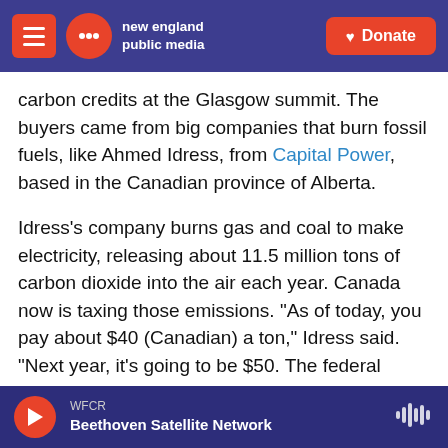new england public media | Donate
carbon credits at the Glasgow summit. The buyers came from big companies that burn fossil fuels, like Ahmed Idress, from Capital Power, based in the Canadian province of Alberta.
Idress's company burns gas and coal to make electricity, releasing about 11.5 million tons of carbon dioxide into the air each year. Canada now is taxing those emissions. "As of today, you pay about $40 (Canadian) a ton," Idress said. "Next year, it's going to be $50. The federal government is asking that the price should continue to escalate to $170 [a ton] by 2030."
WFCR | Beethoven Satellite Network